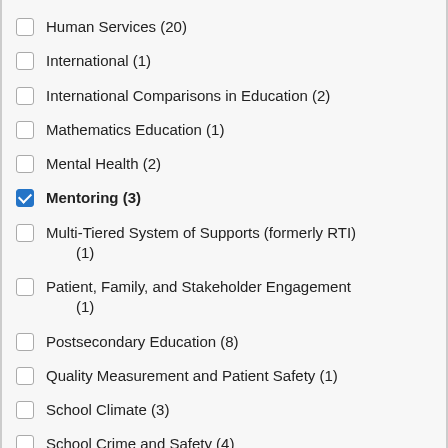Human Services (20)
International (1)
International Comparisons in Education (2)
Mathematics Education (1)
Mental Health (2)
Mentoring (3)
Multi-Tiered System of Supports (formerly RTI) (1)
Patient, Family, and Stakeholder Engagement (1)
Postsecondary Education (8)
Quality Measurement and Patient Safety (1)
School Climate (3)
School Crime and Safety (4)